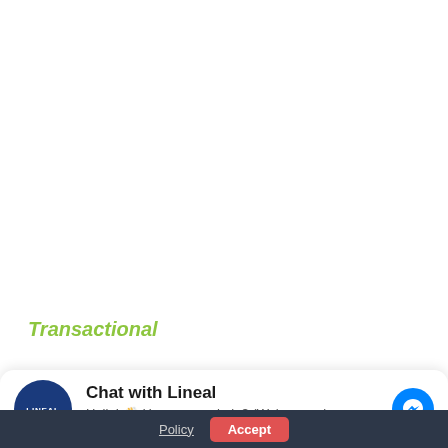Transactional
[Figure (screenshot): Chat widget showing 'Chat with Lineal' with Lineal logo, subtitle 'Hello! How can we help? (We're a real person, n...' and Facebook Messenger icon]
Policy  Accept